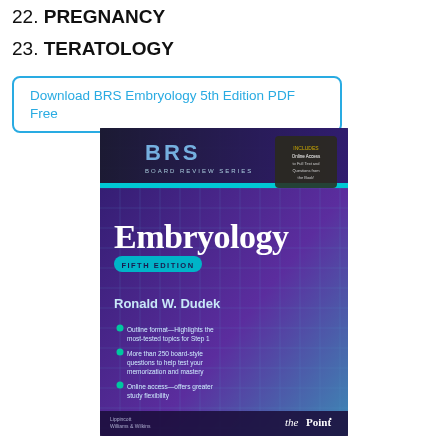22. PREGNANCY
23. TERATOLOGY
Download BRS Embryology 5th Edition PDF Free
[Figure (photo): Book cover of BRS Embryology Fifth Edition by Ronald W. Dudek, showing a purple and teal grid design with the BRS Board Review Series logo at top, the Embryology title in large white text, FIFTH EDITION badge in teal, author name Ronald W. Dudek, bullet points listing features, and the thePoint logo and Lippincott Williams & Wilkins publisher at the bottom.]